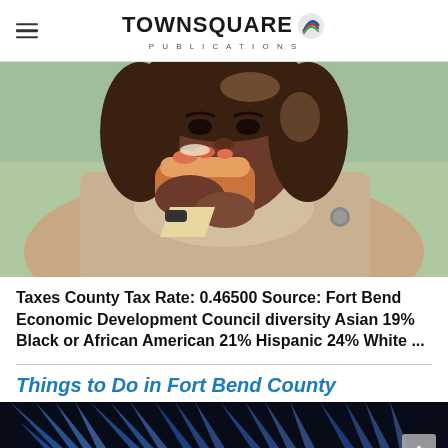TOWNSQUARE PUBLICATIONS
[Figure (photo): A woman with curly hair eating a lobster roll or pastry, wearing a beige trench coat, photographed outdoors]
Taxes County Tax Rate: 0.46500 Source: Fort Bend Economic Development Council diversity Asian 19% Black or African American 21% Hispanic 24% White ...
Things to Do in Fort Bend County
[Figure (photo): Concert stage with dramatic blue and white spotlight beams shining upward in a dark arena]